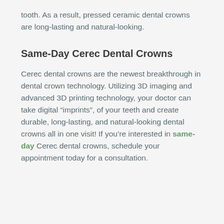tooth. As a result, pressed ceramic dental crowns are long-lasting and natural-looking.
Same-Day Cerec Dental Crowns
Cerec dental crowns are the newest breakthrough in dental crown technology. Utilizing 3D imaging and advanced 3D printing technology, your doctor can take digital “imprints”, of your teeth and create durable, long-lasting, and natural-looking dental crowns all in one visit! If you’re interested in same-day Cerec dental crowns, schedule your appointment today for a consultation.